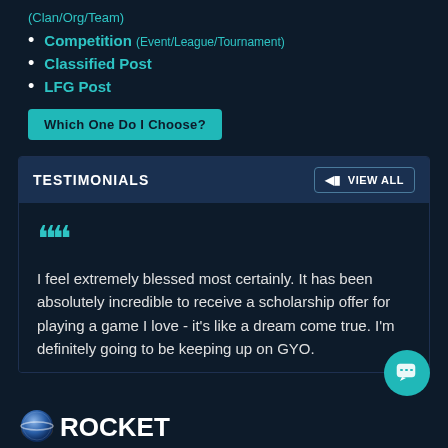(Clan/Org/Team)
Competition (Event/League/Tournament)
Classified Post
LFG Post
Which One Do I Choose?
TESTIMONIALS
VIEW ALL
I feel extremely blessed most certainly. It has been absolutely incredible to receive a scholarship offer for playing a game I love - it's like a dream come true. I'm definitely going to be keeping up on GYO.
[Figure (logo): Rocket league style ball logo with text ROCKET partially visible]
[Figure (other): Teal chat bubble button in bottom right corner]